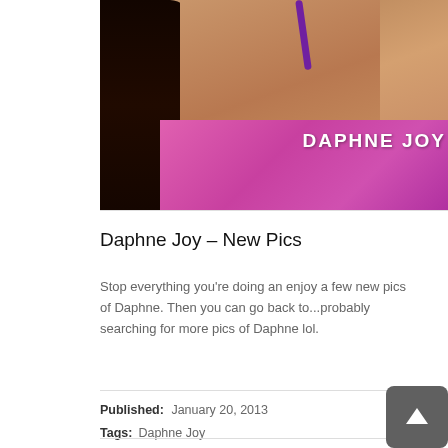[Figure (photo): Partial photo of Daphne Joy in a pink bikini top with text 'DAPHNE JOY' overlaid in white bold letters on the right side. Dark hair visible on left.]
Daphne Joy – New Pics
Stop everything you're doing an enjoy a few new pics of Daphne. Then you can go back to...probably searching for more pics of Daphne lol.
Published: January 20, 2013
Tags: Daphne Joy
[Figure (photo): Partial photo of a woman (Daphne Joy) with dark hair, wearing bracelets, against a grey/blue background.]